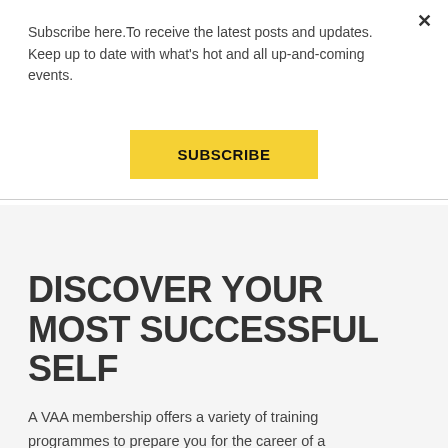Subscribe here.To receive the latest posts and updates. Keep up to date with what's hot and all up-and-coming events.
SUBSCRIBE
DISCOVER YOUR MOST SUCCESSFUL SELF
A VAA membership offers a variety of training programmes to prepare you for the career of a